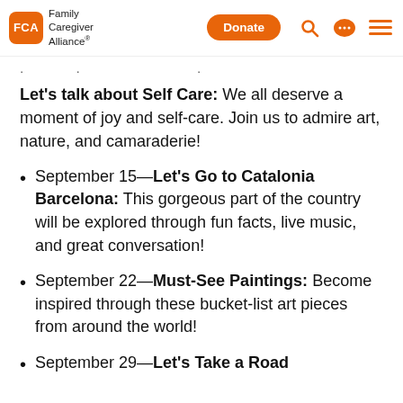Family Caregiver Alliance | Donate
Let's talk about Self Care: We all deserve a moment of joy and self-care. Join us to admire art, nature, and camaraderie!
September 15—Let's Go to Catalonia Barcelona: This gorgeous part of the country will be explored through fun facts, live music, and great conversation!
September 22—Must-See Paintings: Become inspired through these bucket-list art pieces from around the world!
September 29—Let's Take a Road